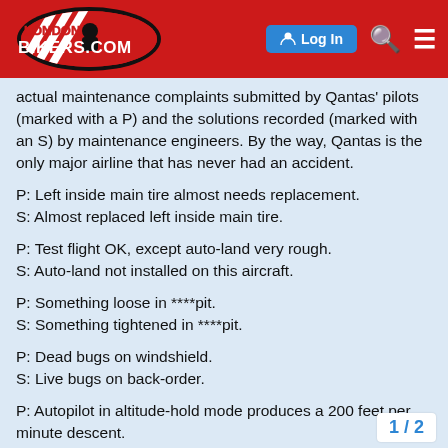LONDONBIKERS.COM | Log In
actual maintenance complaints submitted by Qantas' pilots (marked with a P) and the solutions recorded (marked with an S) by maintenance engineers. By the way, Qantas is the only major airline that has never had an accident.
P: Left inside main tire almost needs replacement.
S: Almost replaced left inside main tire.
P: Test flight OK, except auto-land very rough.
S: Auto-land not installed on this aircraft.
P: Something loose in ****pit.
S: Something tightened in ****pit.
P: Dead bugs on windshield.
S: Live bugs on back-order.
P: Autopilot in altitude-hold mode produces a 200 feet per minute descent.
S: Cannot reproduce problem on ground.
1 / 2